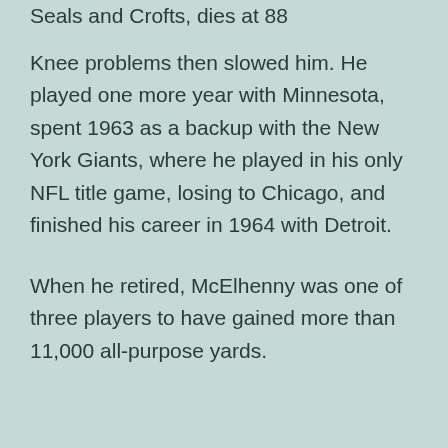Seals and Crofts, dies at 88
Knee problems then slowed him. He played one more year with Minnesota, spent 1963 as a backup with the New York Giants, where he played in his only NFL title game, losing to Chicago, and finished his career in 1964 with Detroit.
When he retired, McElhenny was one of three players to have gained more than 11,000 all-purpose yards.